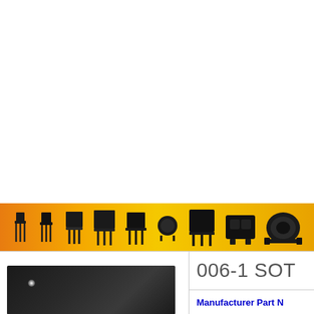[Figure (photo): Orange/yellow gradient banner showing a row of various electronic components (transistors, capacitors, connectors, sensors) in silhouette from small to large, left to right]
[Figure (photo): Dark/black product photo of an electronic component (transistor or similar) with a small light glint visible]
006-1 SOT
Manufacturer Part N